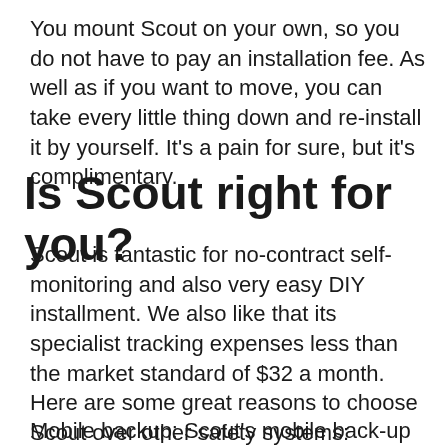You mount Scout on your own, so you do not have to pay an installation fee. As well as if you want to move, you can take every little thing down and re-install it by yourself. It's a pain for sure, but it's complimentary.
Is Scout right for you?
Scout is fantastic for no-contract self-monitoring and also very easy DIY installment. We also like that its specialist tracking expenses less than the market standard of $32 a month. Here are some great reasons to choose Scout over other safety systems:
Mobile backup: Scout's mobile back-up is